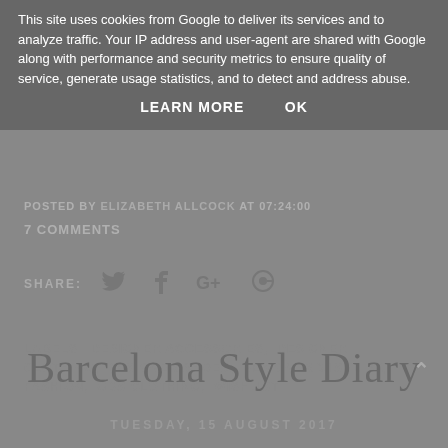This site uses cookies from Google to deliver its services and to analyze traffic. Your IP address and user-agent are shared with Google along with performance and security metrics to ensure quality of service, generate usage statistics, and to detect and address abuse.
LEARN MORE   OK
POSTED BY ELIZABETH ALLCOCK AT 07:24:00
7 COMMENTS
SHARE:
LABELS: DESIGNER ACCESSORIES, DESIGNER CLOTHING, DESIGNER SHOES, DESIGNER WISHLIST, FASHION, GDS CLOTHING, WISHLIST
Barcelona Style Diary
TUESDAY, 15 AUGUST 2017